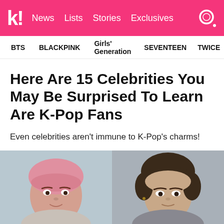k! News Lists Stories Exclusives
BTS  BLACKPINK  Girls' Generation  SEVENTEEN  TWICE
Here Are 15 Celebrities You May Be Surprised To Learn Are K-Pop Fans
Even celebrities aren't immune to K-Pop's charms!
[Figure (photo): Two side-by-side celebrity photos: left shows a woman with pink hair in a bun with bangs; right shows a man with dark brown hair.]